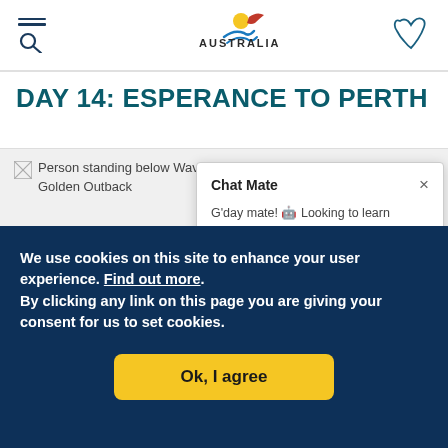Tourism Australia website header with search/menu icon, Australia logo, and map icon
DAY 14: ESPERANCE TO PERTH
[Figure (photo): Broken/missing image placeholder with alt text: Person standing below Wave Rock in Hyden © Australia's Golden Outback]
[Figure (screenshot): Chat Mate popup widget with header 'Chat Mate' and text beginning 'G'day mate! 🤖 Looking to learn']
We use cookies on this site to enhance your user experience. Find out more.
By clicking any link on this page you are giving your consent for us to set cookies.
Ok, I agree